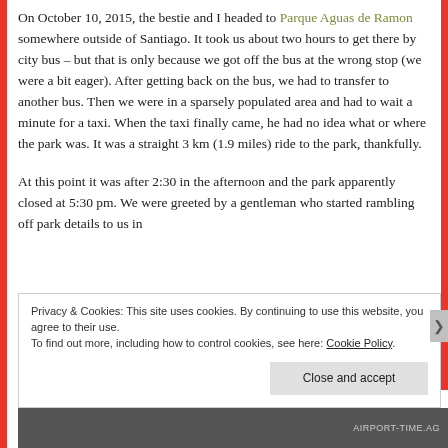On October 10, 2015, the bestie and I headed to Parque Aguas de Ramon somewhere outside of Santiago. It took us about two hours to get there by city bus – but that is only because we got off the bus at the wrong stop (we were a bit eager). After getting back on the bus, we had to transfer to another bus. Then we were in a sparsely populated area and had to wait a minute for a taxi. When the taxi finally came, he had no idea what or where the park was. It was a straight 3 km (1.9 miles) ride to the park, thankfully.
At this point it was after 2:30 in the afternoon and the park apparently closed at 5:30 pm. We were greeted by a gentleman who started rambling off park details to us in
Privacy & Cookies: This site uses cookies. By continuing to use this website, you agree to their use. To find out more, including how to control cookies, see here: Cookie Policy